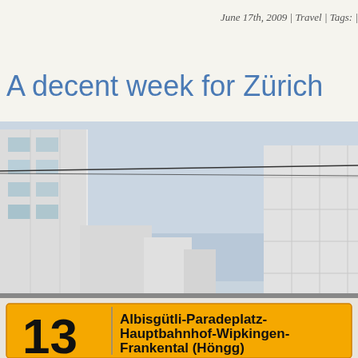June 17th, 2009 | Travel | Tags: |
A decent week for Zürich
[Figure (photo): Street-level photograph of a Zürich tram route sign numbered 13, with destinations Albisgütli-Paradeplatz-Hauptbahnhof-Wipkingen-Frankental (Höngg) printed on a yellow board. Modern white buildings and overcast sky in background.]